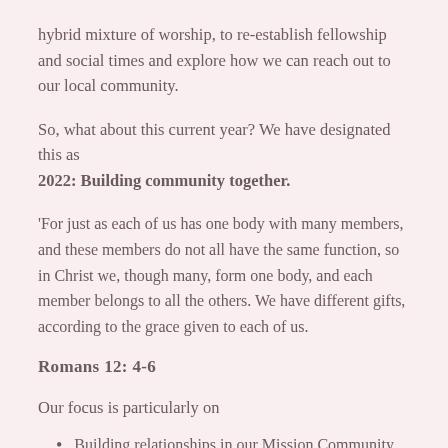hybrid mixture of worship, to re-establish fellowship and social times and explore how we can reach out to our local community.
So, what about this current year? We have designated this as 2022: Building community together.
'For just as each of us has one body with many members, and these members do not all have the same function, so in Christ we, though many, form one body, and each member belongs to all the others. We have different gifts, according to the grace given to each of us.
Romans 12: 4-6
Our focus is particularly on
Building relationships in our Mission Community